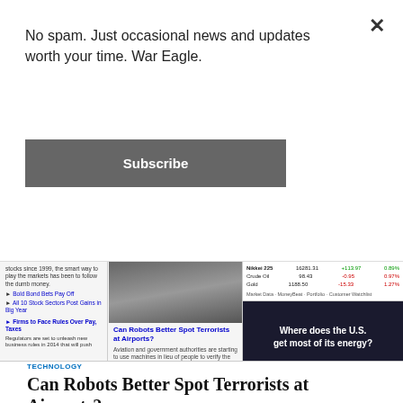No spam. Just occasional news and updates worth your time. War Eagle.
Subscribe
[Figure (screenshot): News website strip showing article thumbnails and stock ticker information with an ad 'Where does the U.S. get most of its energy?']
TECHNOLOGY
Can Robots Better Spot Terrorists at Airports?
Some Countries Test Fingerprint Readers and Eye Scanners for Aviation Security